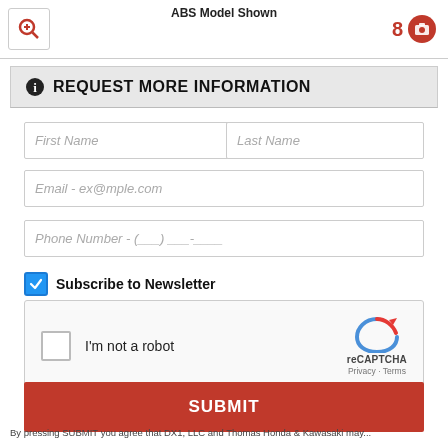ABS Model Shown
[Figure (screenshot): Top bar with zoom icon button on left, number 8 and camera icon on right]
REQUEST MORE INFORMATION
First Name
Last Name
Email - ex@mple.com
Phone Number - (___) ___-____
Subscribe to Newsletter
[Figure (screenshot): reCAPTCHA widget with checkbox and I'm not a robot text]
SUBMIT
By pressing SUBMIT you agree that DX1, LLC and Thomas Honda & Kawasaki may...